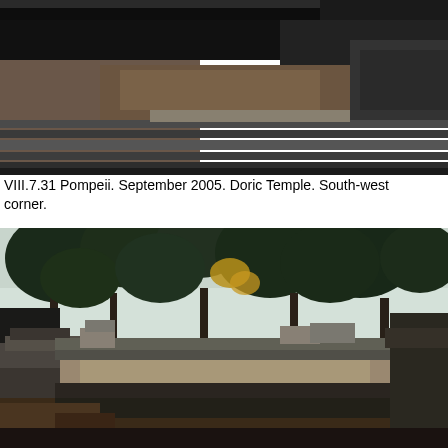[Figure (photo): Photograph of the Doric Temple at Pompeii showing stone steps and ruins at the south-west corner, taken in September 2005. Dark stone masonry and gravel ground are visible.]
VIII.7.31 Pompeii. September 2005. Doric Temple. South-west corner.
[Figure (photo): Photograph of the Doric Temple area at Pompeii showing ancient stone ruins in the foreground with tall trees and a garden beyond. Stone blocks and gravel path visible, taken in September 2005.]